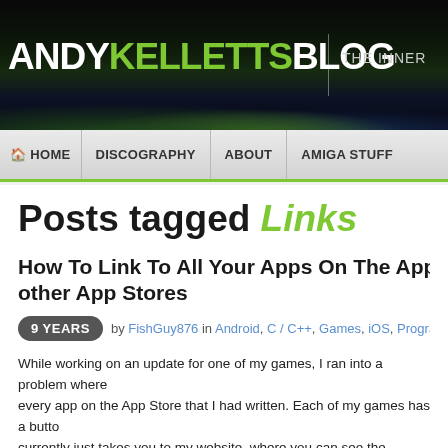ANDY KELLETTS BLOG | THE INNER
[Figure (screenshot): Website header with dark gradient background featuring blog logo]
HOME | DISCOGRAPHY | ABOUT | AMIGA STUFF
Posts tagged Links
How To Link To All Your Apps On The App Store other App Stores
9 YEARS by FishGuy876 in Android, C / C++, Games, iOS, Program
While working on an update for one of my games, I ran into a problem where every app on the App Store that I had written. Each of my games has a button currently just takes you to my website, where you can see the games, but wh go directly to the app store page itself? This generates better install follow th simply click the Install/Purchase buttons, without having to go anywhere